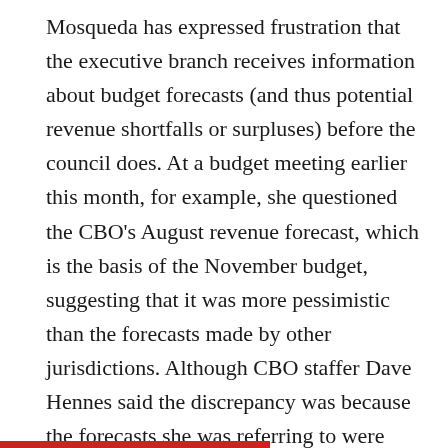Mosqueda has expressed frustration that the executive branch receives information about budget forecasts (and thus potential revenue shortfalls or surpluses) before the council does. At a budget meeting earlier this month, for example, she questioned the CBO's August revenue forecast, which is the basis of the November budget, suggesting that it was more pessimistic than the forecasts made by other jurisdictions. Although CBO staffer Dave Hennes said the discrepancy was because the forecasts she was referring to were from a month later, when the economy had improved somewhat, Mosqueda suggested that the council couldn't independently verify the forecasts because they didn't have access to the models that the budget